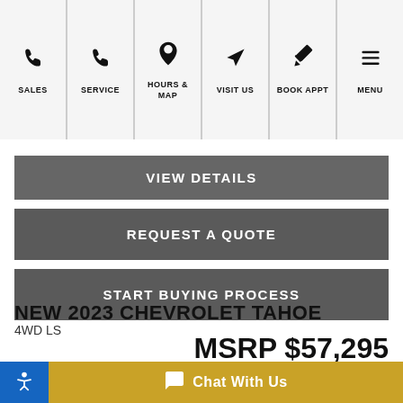SALES | SERVICE | HOURS & MAP | VISIT US | BOOK APPT | MENU
VIEW DETAILS
REQUEST A QUOTE
START BUYING PROCESS
NEW 2023 CHEVROLET TAHOE
4WD LS
MSRP $57,295
MSRP $57,295
See Important Disclosures Here
Chat With Us